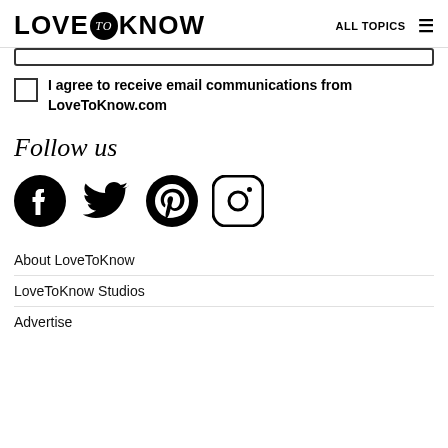LOVE to KNOW  ALL TOPICS
I agree to receive email communications from LoveToKnow.com
Follow us
[Figure (illustration): Social media icons: Facebook, Twitter, Pinterest, Instagram]
About LoveToKnow
LoveToKnow Studios
Advertise